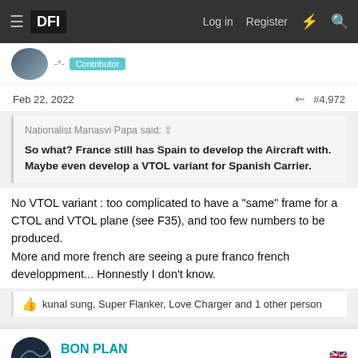DFI — Log in  Register
Contributor
Feb 22, 2022   #4,972
Nationalist Manasvi Papa said:
So what? France still has Spain to develop the Aircraft with. Maybe even develop a VTOL variant for Spanish Carrier.
No VTOL variant : too complicated to have a "same" frame for a CTOL and VTOL plane (see F35), and too few numbers to be produced.
More and more french are seeing a pure franco french developpment... Honnestly I don't know.
kunal sung, Super Flanker, Love Charger and 1 other person
BON PLAN
Contributor